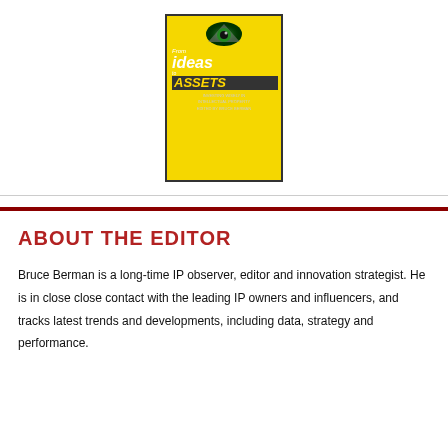[Figure (illustration): Book cover of 'From Ideas to Assets: Investing Wisely in Intellectual Property' edited by Bruce Berman, shown on a yellow background. Cover features an all-seeing eye logo, dark background with 'From ideas to ASSETS' text and subtitle text.]
ABOUT THE EDITOR
Bruce Berman is a long-time IP observer, editor and innovation strategist. He is in close close contact with the leading IP owners and influencers, and tracks latest trends and developments, including data, strategy and performance.